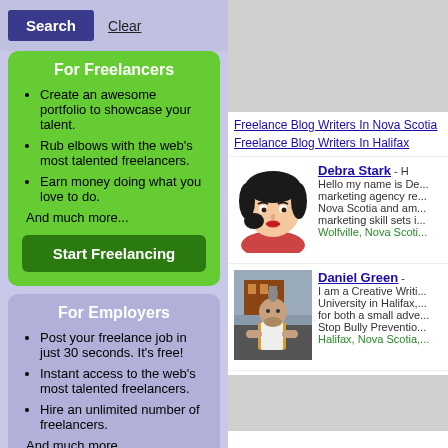[Figure (screenshot): Search and Clear buttons in a purple-grey bar]
For Freelancers
Create an awesome portfolio to showcase your talent.
Rub elbows with the web's most talented freelancers.
Earn money doing what you love to do.
And much more...
Start Freelancing
For Employers
Post your freelance job in just 30 seconds. It's free!
Instant access to the web's most talented freelancers.
Hire an unlimited number of freelancers.
And much more...
Post Your Job
[Figure (other): Grey advertisement banner placeholder]
Freelance Blog Writers In Nova Scotia
Freelance Blog Writers In Halifax
[Figure (illustration): Cartoon avatar of Debra Stark - woman with black bob haircut and red top]
Debra Stark - Hello my name is De... marketing agency re... Nova Scotia and am... marketing skill sets i... Wolfville, Nova Scoti...
[Figure (photo): Photo of Daniel Green - man with mohawk hair and vest standing outdoors]
Daniel Green - I am a Creative Writi... University in Halifax,... for both a small adve... Stop Bully Preventio... Halifax, Nova Scotia,...
[Figure (other): Grey advertisement banner placeholder at bottom]